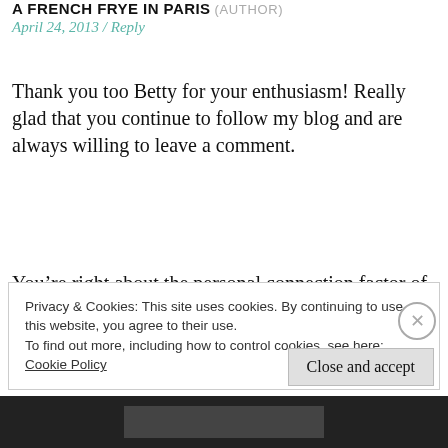A FRENCH FRYE IN PARIS (AUTHOR)
April 24, 2013 / Reply
Thank you too Betty for your enthusiasm! Really glad that you continue to follow my blog and are always willing to leave a comment.
You’re right about the personal connection factor of these documents. I think that because the act of writing is something that we all do, there’s a direct accessibility
Privacy & Cookies: This site uses cookies. By continuing to use this website, you agree to their use.
To find out more, including how to control cookies, see here:
Cookie Policy
Close and accept